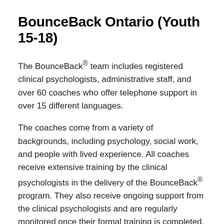BounceBack Ontario (Youth 15-18)
The BounceBack® team includes registered clinical psychologists, administrative staff, and over 60 coaches who offer telephone support in over 15 different languages.
The coaches come from a variety of backgrounds, including psychology, social work, and people with lived experience. All coaches receive extensive training by the clinical psychologists in the delivery of the BounceBack® program. They also receive ongoing support from the clinical psychologists and are regularly monitored once their formal training is completed. In